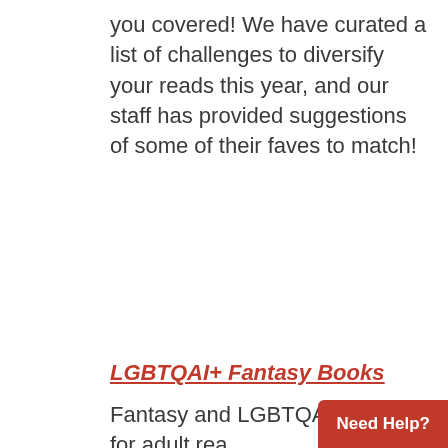you covered! We have curated a list of challenges to diversify your reads this year, and our staff has provided suggestions of some of their faves to match!
LGBTQAI+ Fantasy Books
Fantasy and LGBTQAI+ books for adult readers aligned here.